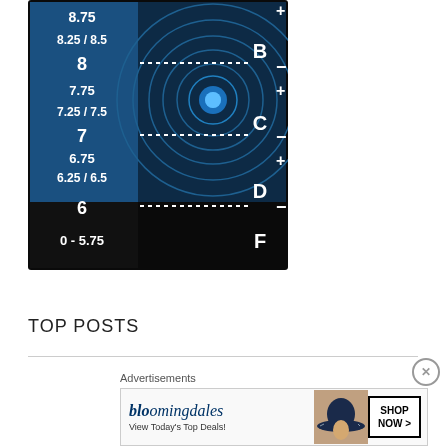[Figure (infographic): Archery/shooting target diagram with blue and black sections. Left column shows numerical values: 8.75, 8.25/8.5, 8, 7.75, 7.25/7.5, 7, 6.75, 6.25/6.5, 6, 0-5.75. Right side shows letters B, C, D, F with plus and minus symbols. Center shows concentric circular rings with a glowing blue dot in the middle. Dotted horizontal lines mark rows at 8, 7, and 6.]
TOP POSTS
[Figure (illustration): Bloomingdale's advertisement banner showing logo, 'View Today's Top Deals!' text, a woman in a hat, and a 'SHOP NOW >' button.]